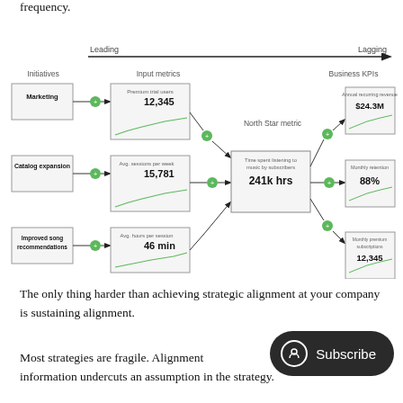frequency.
[Figure (flowchart): North Star metric diagram showing Leading to Lagging axis. Initiatives (Marketing, Catalog expansion, Improved song recommendations) connect to Input metrics (Premium trial users: 12,345; Avg. sessions per week: 15,781; Avg. hours per session: 46 min) which feed into North Star metric (Time spent listening to music by subscribers: 241k hrs) which connects to Business KPIs (Annual recurring revenue: $24.3M; Monthly retention: 88%; Monthly premium subscriptions: 12,345). Green plus circles on arrows indicate positive relationships.]
The only thing harder than achieving strategic alignment at your company is sustaining alignment.
Most strategies are fragile. Alignment [Subscribe button overlay] w information undercuts an assumption in the strategy.